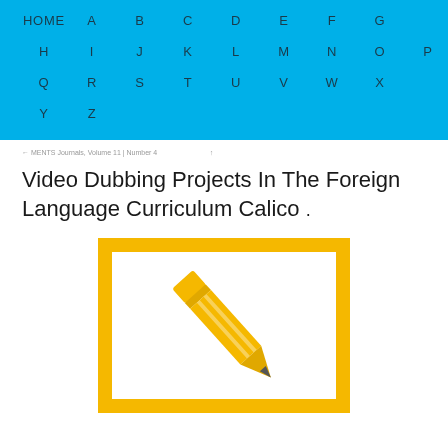HOME A B C D E F G H I J K L M N O P Q R S T U V W X Y Z
← MENTS Journals, Volume 11 | Number 4 ↑
Video Dubbing Projects In The Foreign Language Curriculum Calico .
[Figure (illustration): Yellow-bordered white box containing a yellow pencil icon (edit/write icon) shown diagonally]